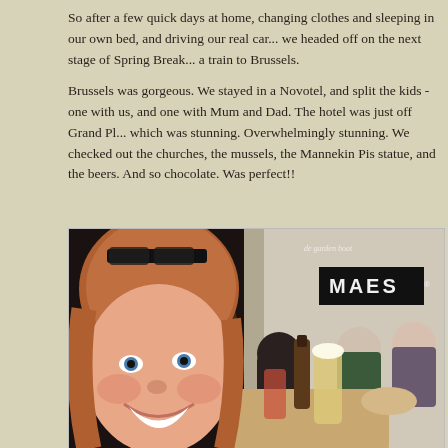So after a few quick days at home, changing clothes and sleeping in our own bed, and driving our real car... we headed off on the next stage of Spring Break... a train to Brussels.
Brussels was gorgeous. We stayed in a Novotel, and split the kids - one with us, and one with Mum and Dad. The hotel was just off Grand Place, which was stunning. Overwhelmingly stunning. We checked out the churches, the mussels, the Mannekin Pis statue, and the beers. And so much chocolate. Was perfect!!
[Figure (photo): Group of people sitting at outdoor cafe tables in Brussels. In the foreground is a smiling red-haired woman taking a selfie with sunglasses on her head. Behind her are other people seated at tables with beer glasses and bottles. In the background is a storefront with a MAES sign on the right side.]